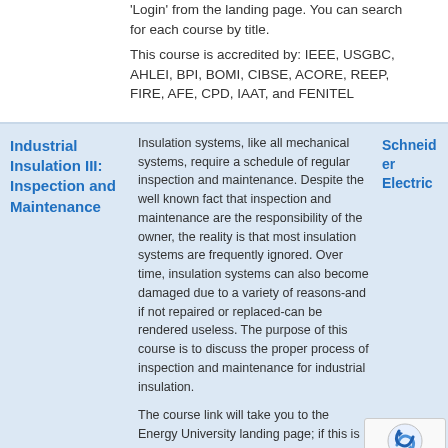Login' from the landing page. You can search for each course by title.
This course is accredited by: IEEE, USGBC, AHLEI, BPI, BOMI, CIBSE, ACORE, REEP, FIRE, AFE, CPD, IAAT, and FENITEL
Industrial Insulation III: Inspection and Maintenance
Insulation systems, like all mechanical systems, require a schedule of regular inspection and maintenance. Despite the well known fact that inspection and maintenance are the responsibility of the owner, the reality is that most insulation systems are frequently ignored. Over time, insulation systems can also become damaged due to a variety of reasons-and if not repaired or replaced-can be rendered useless. The purpose of this course is to discuss the proper process of inspection and maintenance for industrial insulation.
The course link will take you to the Energy University landing page; if this is your first Energy University course, click “Join” and complete the form. Returning students can
Schneider Electric
Home   Courses   Organizations   About Us   Contact